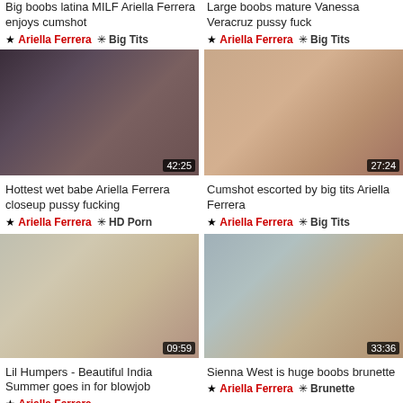Big boobs latina MILF Ariella Ferrera enjoys cumshot
★ Ariella Ferrera  ✳ Big Tits
Large boobs mature Vanessa Veracruz pussy fuck
★ Ariella Ferrera  ✳ Big Tits
[Figure (photo): Video thumbnail 42:25]
[Figure (photo): Video thumbnail 27:24]
Hottest wet babe Ariella Ferrera closeup pussy fucking
★ Ariella Ferrera  ✳ HD Porn
Cumshot escorted by big tits Ariella Ferrera
★ Ariella Ferrera  ✳ Big Tits
[Figure (photo): Video thumbnail 09:59]
[Figure (photo): Video thumbnail 33:36]
Lil Humpers - Beautiful India Summer goes in for blowjob
★ Ariella Ferrera  ✳ Doggystyle
Sienna West is huge boobs brunette
★ Ariella Ferrera  ✳ Brunette